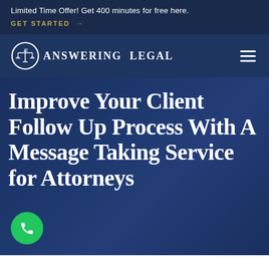Limited Time Offer! Get 400 minutes for free here.
GET STARTED →
[Figure (logo): Answering Legal logo with scales of justice icon in a circle and text ANSWERING LEGAL]
Improve Your Client Follow Up Process With A Message Taking Service for Attorneys